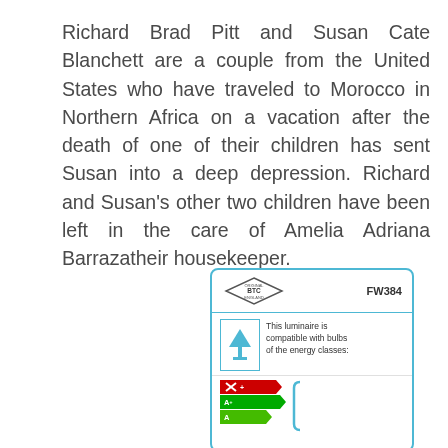Richard Brad Pitt and Susan Cate Blanchett are a couple from the United States who have traveled to Morocco in Northern Africa on a vacation after the death of one of their children has sent Susan into a deep depression. Richard and Susan's other two children have been left in the care of Amelia Adriana Barrazatheir housekeeper.
[Figure (other): Original BTC England product label card with model number FW384, a lamp icon, text 'This luminaire is compatible with bulbs of the energy classes:', and energy class bars showing X+, A+, A with a bracket symbol.]